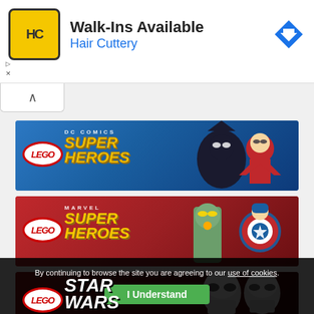[Figure (screenshot): Hair Cuttery advertisement banner: 'Walk-Ins Available' with HC logo and navigation arrow icon]
[Figure (illustration): LEGO DC Comics Super Heroes banner with Batman and Superman LEGO characters on blue background]
[Figure (illustration): LEGO Marvel Super Heroes banner with Iron Man and Captain America LEGO characters on red background]
[Figure (illustration): LEGO Star Wars banner with clone trooper helmet characters on dark red background]
By continuing to browse the site you are agreeing to our use of cookies.
I Understand